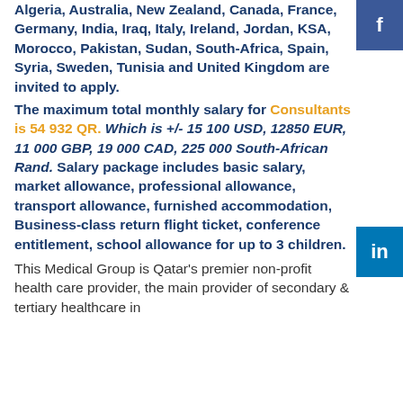Algeria, Australia, New Zealand, Canada, France, Germany, India, Iraq, Italy, Ireland, Jordan, KSA, Morocco, Pakistan, Sudan, South-Africa, Spain, Syria, Sweden, Tunisia and United Kingdom are invited to apply. The maximum total monthly salary for Consultants is 54 932 QR. Which is +/- 15 100 USD, 12850 EUR, 11 000 GBP, 19 000 CAD, 225 000 South-African Rand. Salary package includes basic salary, market allowance, professional allowance, transport allowance, furnished accommodation, Business-class return flight ticket, conference entitlement, school allowance for up to 3 children. This Medical Group is Qatar's premier non-profit health care provider, the main provider of secondary & tertiary healthcare in
[Figure (other): Social media sidebar buttons: Facebook (f) and LinkedIn (in)]